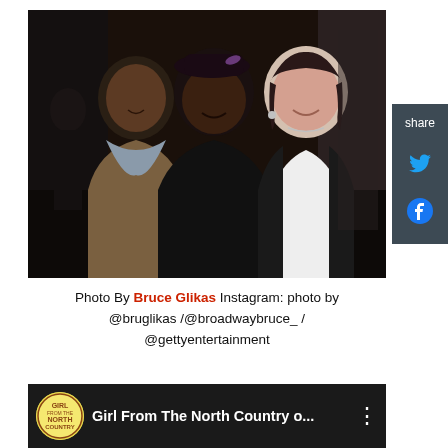[Figure (photo): Three people posing together indoors. Two Black women on the left (one in a brown jacket with scarf, one in a dark jacket with a decorative hat) and a white woman on the right in a white top with a dark blazer. Dark indoor venue background.]
Photo By Bruce Glikas Instagram: photo by @bruglikas /@broadwaybruce_ / @gettyentertainment
[Figure (screenshot): Video thumbnail bar showing Girl From The North Country logo (circular badge with text) and title text 'Girl From The North Country o...' on dark background with three-dot menu icon.]